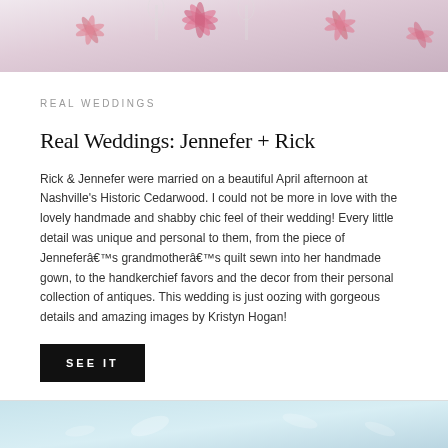[Figure (photo): Top image showing pink floral decorations and wine glasses on a table with a floral tablecloth]
REAL WEDDINGS
Real Weddings: Jennefer + Rick
Rick & Jennefer were married on a beautiful April afternoon at Nashville's Historic Cedarwood. I could not be more in love with the lovely handmade and shabby chic feel of their wedding! Every little detail was unique and personal to them, from the piece of Jenneferâ€™s grandmotherâ€™s quilt sewn into her handmade gown, to the handkerchief favors and the decor from their personal collection of antiques. This wedding is just oozing with gorgeous details and amazing images by Kristyn Hogan!
SEE IT
[Figure (photo): Bottom partial image showing a light blue and white floral arrangement]